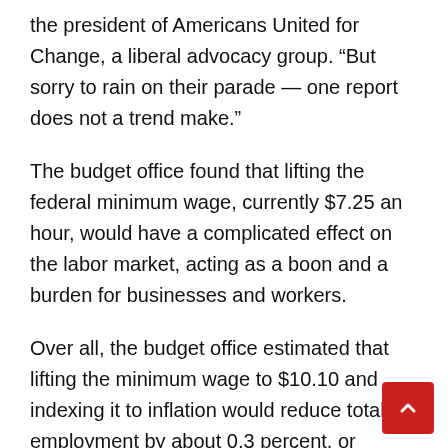the president of Americans United for Change, a liberal advocacy group. “But sorry to rain on their parade — one report does not a trend make.”
The budget office found that lifting the federal minimum wage, currently $7.25 an hour, would have a complicated effect on the labor market, acting as a boon and a burden for businesses and workers.
Over all, the budget office estimated that lifting the minimum wage to $10.10 and indexing it to inflation would reduce total employment by about 0.3 percent, or 500,000 workers. But it cautioned that the estimate was imprecise, with the job losses